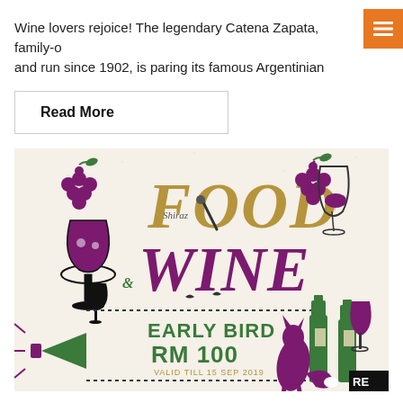Wine lovers rejoice! The legendary Catena Zapata, family-o… and run since 1902, is paring its famous Argentinian
Read More
[Figure (illustration): Food & Wine event poster illustration featuring the text 'FOOD & WINE' in large decorative lettering with wine glasses, grape clusters, wine bottles, and a cartoon fox. Text reads 'EARLY BIRD RM 100 VALID TILL 15 SEP 2019'. Illustrated elements include wine glasses, grapes, birds, and a corkscrew. Label 'Shiraz' visible. RE[logo] in corner.]